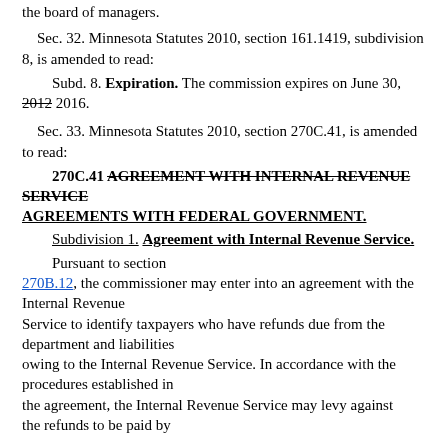the board of managers.
Sec. 32. Minnesota Statutes 2010, section 161.1419, subdivision 8, is amended to read:
Subd. 8. Expiration. The commission expires on June 30, 2012 2016.
Sec. 33. Minnesota Statutes 2010, section 270C.41, is amended to read:
270C.41 AGREEMENT WITH INTERNAL REVENUE SERVICE
AGREEMENTS WITH FEDERAL GOVERNMENT.
Subdivision 1. Agreement with Internal Revenue Service.
Pursuant to section 270B.12, the commissioner may enter into an agreement with the Internal Revenue Service to identify taxpayers who have refunds due from the department and liabilities owing to the Internal Revenue Service. In accordance with the procedures established in the agreement, the Internal Revenue Service may levy against the refunds to be paid by